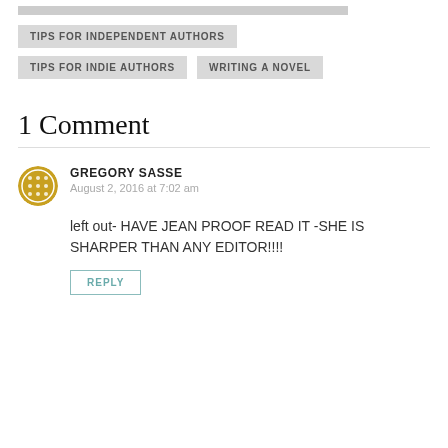TIPS FOR INDEPENDENT AUTHORS
TIPS FOR INDIE AUTHORS
WRITING A NOVEL
1 Comment
GREGORY SASSE
August 2, 2016 at 7:02 am
left out- HAVE JEAN PROOF READ IT -SHE IS SHARPER THAN ANY EDITOR!!!!